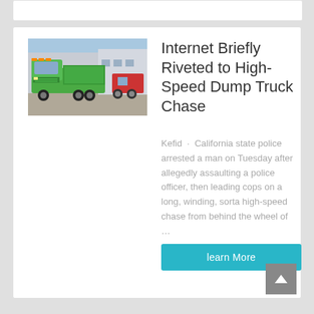[Figure (photo): Green dump truck parked with other trucks and a building in the background under a blue sky]
Internet Briefly Riveted to High-Speed Dump Truck Chase
Kefid · California state police arrested a man on Tuesday after allegedly assaulting a police officer, then leading cops on a long, winding, sorta high-speed chase from behind the wheel of …
learn More